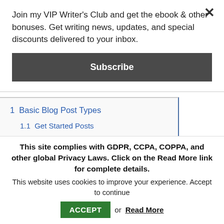Join my VIP Writer's Club and get the ebook & other bonuses. Get writing news, updates, and special discounts delivered to your inbox.
Subscribe
1  Basic Blog Post Types
1.1  Get Started Posts
1.2  How-To Posts
1.3  Product Reviews
1.4  Resource Link List
This site complies with GDPR, CCPA, COPPA, and other global Privacy Laws. Click on the Read More link for complete details.
This website uses cookies to improve your experience. Accept to continue  or  Read More